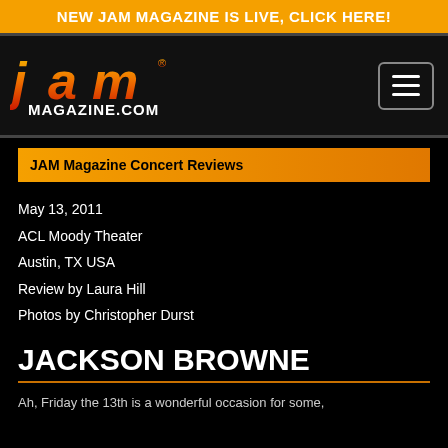NEW JAM MAGAZINE IS LIVE, CLICK HERE!
[Figure (logo): JAM Magazine logo with gradient orange-red JAM letters and MAGAZINE.COM below, on dark background. Hamburger menu button top right.]
JAM Magazine Concert Reviews
May 13, 2011
ACL Moody Theater
Austin, TX USA
Review by Laura Hill
Photos by Christopher Durst
JACKSON BROWNE
Ah, Friday the 13th is a wonderful occasion for some,